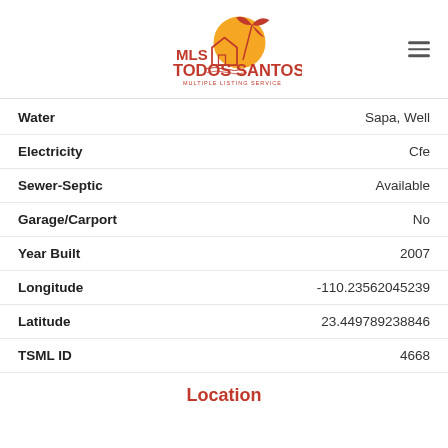[Figure (logo): MLS Todos Santos Multiple Listing Service logo — orange sun with palm tree and house outline, red text]
| Field | Value |
| --- | --- |
| Water | Sapa, Well |
| Electricity | Cfe |
| Sewer-Septic | Available |
| Garage/Carport | No |
| Year Built | 2007 |
| Longitude | -110.23562045239 |
| Latitude | 23.449789238846 |
| TSML ID | 4668 |
Location